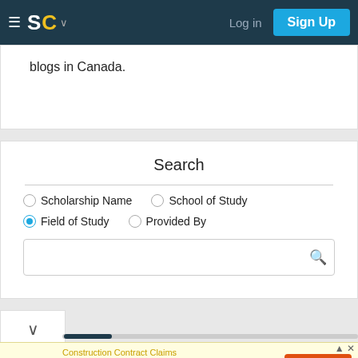SC — Log in | Sign Up
blogs in Canada.
Search
Scholarship Name (radio, unselected)
School of Study (radio, unselected)
Field of Study (radio, selected)
Provided By (radio, unselected)
[Figure (screenshot): Search input text box with magnifying glass icon]
[Figure (infographic): Advertisement for Excell Consulting – Construction Contract Claims with Call Us button]